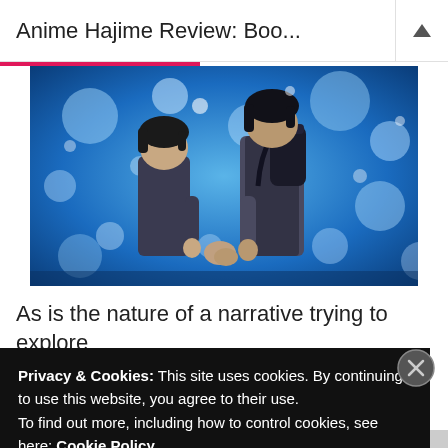Anime Hajime Review: Boo...
[Figure (screenshot): Anime screenshot showing two characters holding hands from behind, standing against a blue bokeh background with glowing light orbs]
As is the nature of a narrative trying to explore
Privacy & Cookies: This site uses cookies. By continuing to use this website, you agree to their use. To find out more, including how to control cookies, see here: Cookie Policy
Close and accept